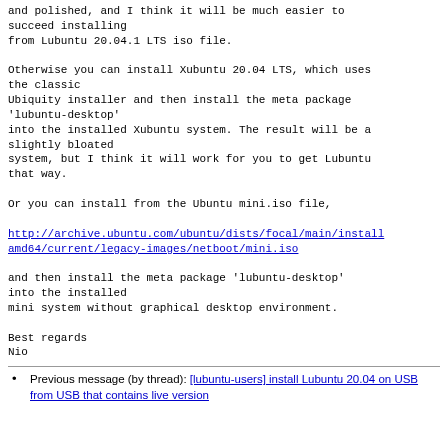and polished, and I think it will be much easier to succeed installing
from Lubuntu 20.04.1 LTS iso file.

Otherwise you can install Xubuntu 20.04 LTS, which uses the classic
Ubiquity installer and then install the meta package 'lubuntu-desktop'
into the installed Xubuntu system. The result will be a slightly bloated
system, but I think it will work for you to get Lubuntu that way.

Or you can install from the Ubuntu mini.iso file,

http://archive.ubuntu.com/ubuntu/dists/focal/main/installer-amd64/current/legacy-images/netboot/mini.iso

and then install the meta package 'lubuntu-desktop' into the installed
mini system without graphical desktop environment.

Best regards
Nio
Previous message (by thread): [lubuntu-users] install Lubuntu 20.04 on USB from USB that contains live version